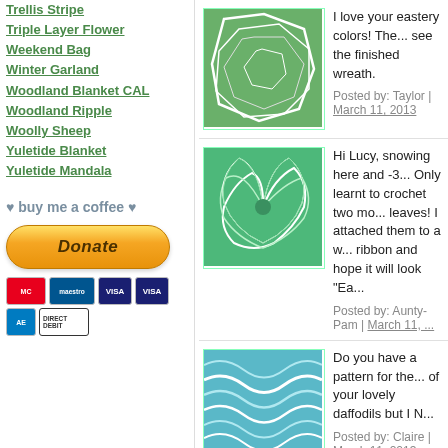Trellis Stripe
Triple Layer Flower
Weekend Bag
Winter Garland
Woodland Blanket CAL
Woodland Ripple
Woolly Sheep
Yuletide Blanket
Yuletide Mandala
♥ buy me a coffee ♥
[Figure (other): PayPal Donate button with payment icons (MasterCard, Maestro, VISA, VISA, American Express, Direct Debit)]
I love your eastery colors! The... see the finished wreath.
Posted by: Taylor | March 11, 2013
Hi Lucy, snowing here and -3... Only learnt to crochet two mo... leaves! I attached them to a w... ribbon and hope it will look "Ea...
Posted by: Aunty-Pam | March 11, ...
Do you have a pattern for the... of your lovely daffodils but I Ni...
Posted by: Claire | March 11, 2013
All so lovely! You're ahead of n... left.We've had a break in the m... enjoying it(hope it's here to sta... idea and link.I'm thinking pani...
Posted by: Angela-Southern U.S.A.